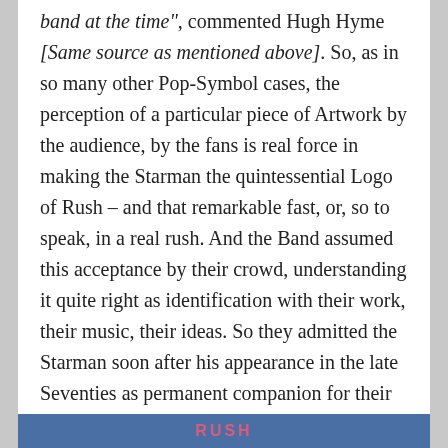band at the time", commented Hugh Hyme [Same source as mentioned above]. So, as in so many other Pop-Symbol cases, the perception of a particular piece of Artwork by the audience, by the fans is real force in making the Starman the quintessential Logo of Rush – and that remarkable fast, or, so to speak, in a real rush. And the Band assumed this acceptance by their crowd, understanding it quite right as identification with their work, their music, their ideas. So they admitted the Starman soon after his appearance in the late Seventies as permanent companion for their musical and artistic journeys around All The World's Stages (to variate the Title of their 2 Record Set-Live Album):
RUSH